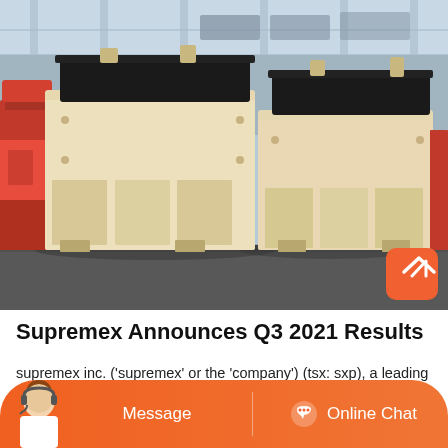[Figure (photo): Industrial photograph showing two large cream/beige colored impact crusher machines in a factory warehouse. Red machinery visible on the left side. Concrete floor. A coral/orange scroll-to-top button with a caret icon is overlaid in the lower-right of the image.]
Supremex Announces Q3 2021 Results
supremex inc. ('supremex' or the 'company') (tsx: sxp), a leading north american manufacturer and marketer of envelopes and a growing ,quick